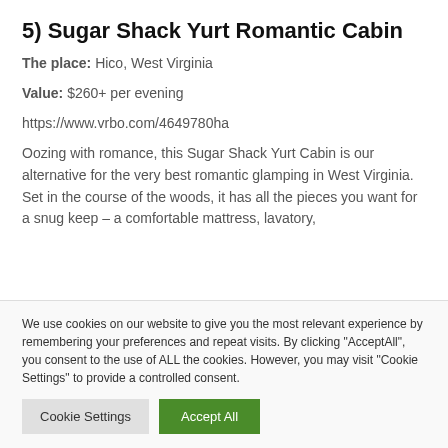5) Sugar Shack Yurt Romantic Cabin
The place: Hico, West Virginia
Value: $260+ per evening
https://www.vrbo.com/4649780ha
Oozing with romance, this Sugar Shack Yurt Cabin is our alternative for the very best romantic glamping in West Virginia. Set in the course of the woods, it has all the pieces you want for a snug keep – a comfortable mattress, lavatory,
We use cookies on our website to give you the most relevant experience by remembering your preferences and repeat visits. By clicking "AcceptAll", you consent to the use of ALL the cookies. However, you may visit "Cookie Settings" to provide a controlled consent.